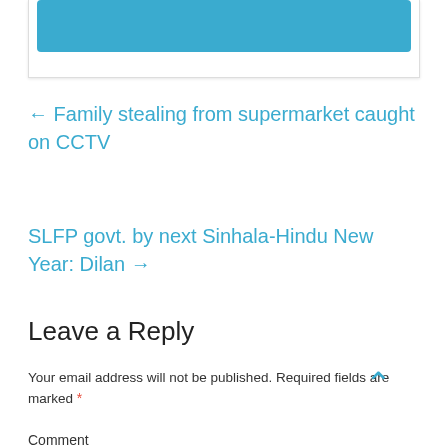[Figure (other): Blue bar element inside a card/widget at the top of the page]
← Family stealing from supermarket caught on CCTV
SLFP govt. by next Sinhala-Hindu New Year: Dilan →
Leave a Reply
Your email address will not be published. Required fields are marked *
Comment